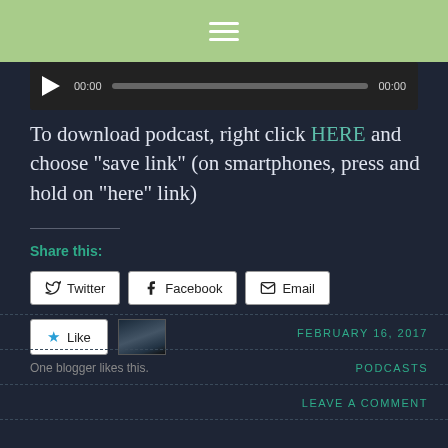[Figure (other): Green navigation bar with hamburger menu icon (three white horizontal lines)]
[Figure (other): Audio player bar with play button, time display 00:00, progress bar, and end time 00:00]
To download podcast, right click HERE and choose "save link" (on smartphones, press and hold on "here" link)
Share this:
Twitter
Facebook
Email
Like
One blogger likes this.
FEBRUARY 16, 2017
PODCASTS
LEAVE A COMMENT